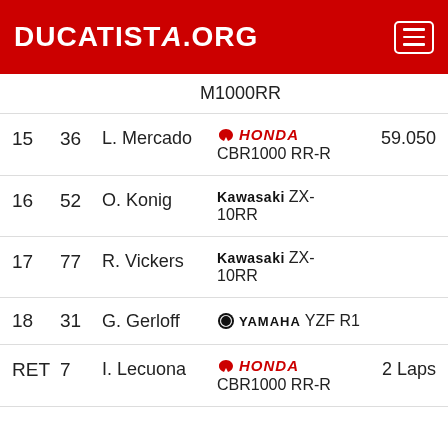DUCATISTA.ORG
| Pos | # | Rider | Bike | Info |
| --- | --- | --- | --- | --- |
|  |  |  | M1000RR |  |
| 15 | 36 | L. Mercado | Honda CBR1000 RR-R | 59.050 |
| 16 | 52 | O. Konig | Kawasaki ZX-10RR |  |
| 17 | 77 | R. Vickers | Kawasaki ZX-10RR |  |
| 18 | 31 | G. Gerloff | Yamaha YZF R1 |  |
| RET | 7 | I. Lecuona | Honda CBR1000 RR-R | 2 Laps |